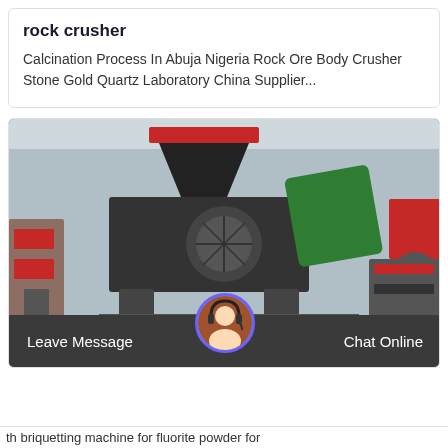rock crusher
Calcination Process In Abuja Nigeria Rock Ore Body Crusher Stone Gold Quartz Laboratory China Supplier...
[Figure (photo): Industrial rock crusher machine photographed in a factory/warehouse setting. The machine is predominantly dark grey/black with a red-topped hopper funnel at the top, a large main crushing body, a visible roller drum in the center, and a green-colored component on the right side. Multiple similar machines are visible in the background. The machine sits on a heavy metal base frame.]
Leave Message
Chat Online
th briquetting machine for fluorite powder for